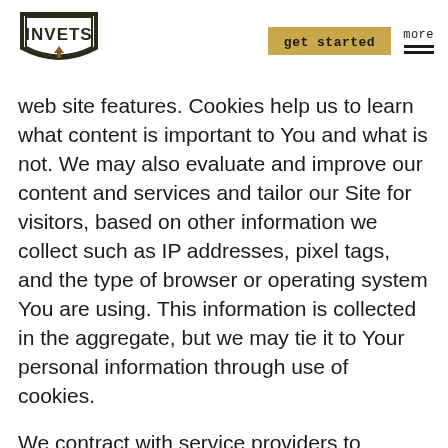INVETS | get started | more
web site features.  Cookies help us to learn what content is important to You and what is not.  We may also evaluate and improve our content and services and tailor our Site for visitors, based on other information we collect such as IP addresses, pixel tags, and the type of browser or operating system You are using.  This information is collected in the aggregate, but we may tie it to Your personal information through use of cookies.
We contract with service providers to provide us with data collection and reports regarding